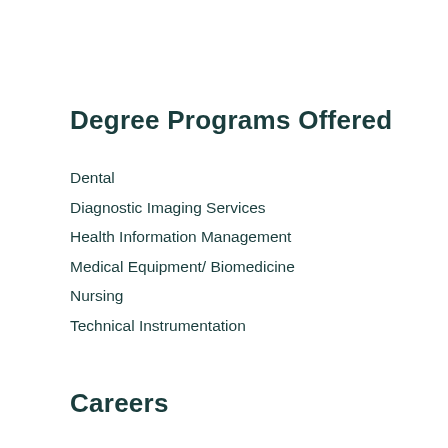Degree Programs Offered
Dental
Diagnostic Imaging Services
Health Information Management
Medical Equipment/ Biomedicine
Nursing
Technical Instrumentation
Careers